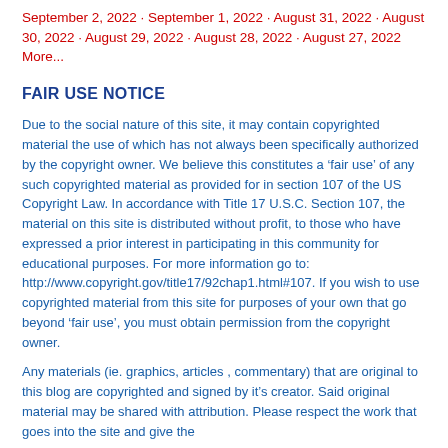September 2, 2022 · September 1, 2022 · August 31, 2022 · August 30, 2022 · August 29, 2022 · August 28, 2022 · August 27, 2022
More...
FAIR USE NOTICE
Due to the social nature of this site, it may contain copyrighted material the use of which has not always been specifically authorized by the copyright owner. We believe this constitutes a ‘fair use’ of any such copyrighted material as provided for in section 107 of the US Copyright Law. In accordance with Title 17 U.S.C. Section 107, the material on this site is distributed without profit, to those who have expressed a prior interest in participating in this community for educational purposes. For more information go to: http://www.copyright.gov/title17/92chap1.html#107. If you wish to use copyrighted material from this site for purposes of your own that go beyond ‘fair use’, you must obtain permission from the copyright owner.
Any materials (ie. graphics, articles , commentary) that are original to this blog are copyrighted and signed by it’s creator. Said original material may be shared with attribution. Please respect the work that goes into the site and give the...